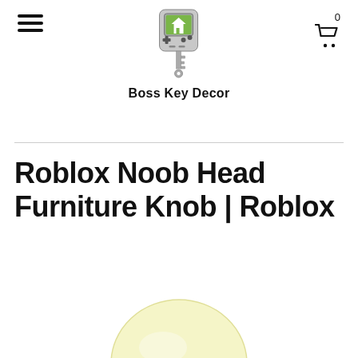Boss Key Decor — navigation header with hamburger menu, logo, and cart icon (0 items)
Roblox Noob Head Furniture Knob | Roblox
[Figure (illustration): Partial view of a yellow/cream rounded Roblox Noob Head furniture knob product photo, cropped at the bottom of the page.]